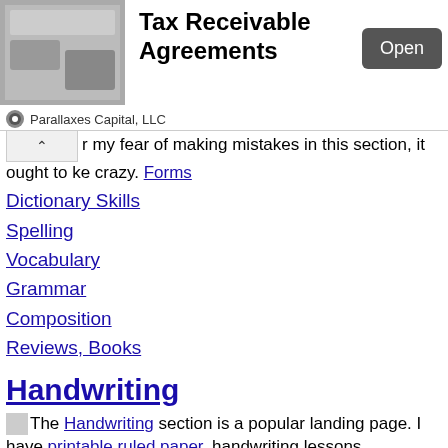[Figure (screenshot): Ad banner for Tax Receivable Agreements by Parallaxes Capital, LLC with an Open button]
r my fear of making mistakes in this section, it ought to ke crazy. Forms
Dictionary Skills
Spelling
Vocabulary
Grammar
Composition
Reviews, Books
Handwriting
HandwritingThe Handwriting section is a popular landing page. I have printable ruled paper, handwriting lessons, animations, font links, & tips. Handwriting is a large section.
By Style
Beginning Manuscript
133 Lessons- 100EZ
Small Print